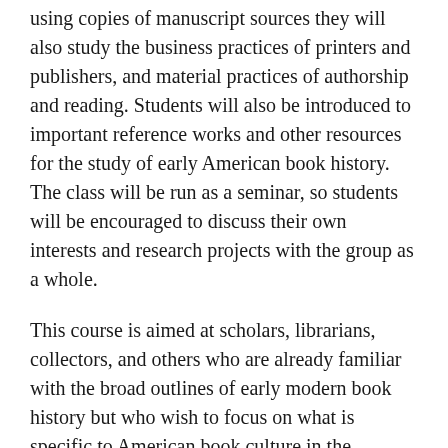using copies of manuscript sources they will also study the business practices of printers and publishers, and material practices of authorship and reading. Students will also be introduced to important reference works and other resources for the study of early American book history. The class will be run as a seminar, so students will be encouraged to discuss their own interests and research projects with the group as a whole.
This course is aimed at scholars, librarians, collectors, and others who are already familiar with the broad outlines of early modern book history but who wish to focus on what is specific to American book culture in the colonial and early national periods. Its chronological sequel is Michael Winship's The American Book in the Industrial Era, 1820-1940 (H-50); and it supplements at a more advanced level the broad overview offered in The History of the Book in